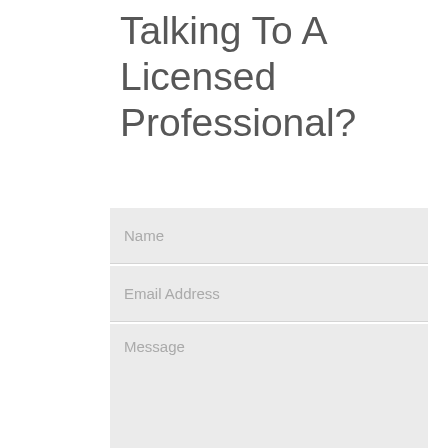Talking To A Licensed Professional?
Name
Email Address
Message
Submit